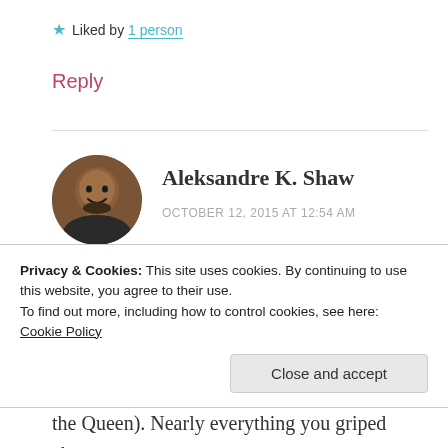★ Liked by 1 person
Reply
[Figure (photo): Circular avatar photo of Aleksandre K. Shaw, an African American man smiling]
Aleksandre K. Shaw
OCTOBER 12, 2015 AT 12:54 AM
Adele, Adele, Adele.... Lol! God, I truly do LOVE your writings! See how many exclamation marks in using and emphasis by capitalizing every
Privacy & Cookies: This site uses cookies. By continuing to use this website, you agree to their use.
To find out more, including how to control cookies, see here:
Cookie Policy
Close and accept
the Queen). Nearly everything you griped about–